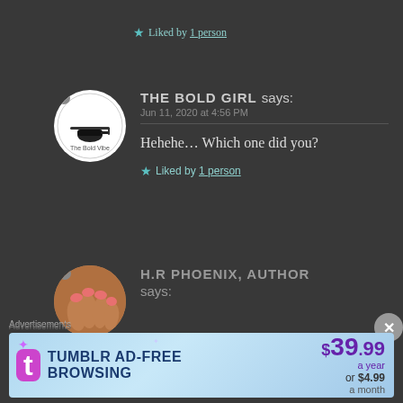★ Liked by 1 person
THE BOLD GIRL says:
Jun 11, 2020 at 4:56 PM
Hehehe... Which one did you?
★ Liked by 1 person
H.R PHOENIX, AUTHOR says:
Advertisements
[Figure (screenshot): Tumblr AD-FREE BROWSING advertisement banner showing $39.99 a year or $4.99 a month]